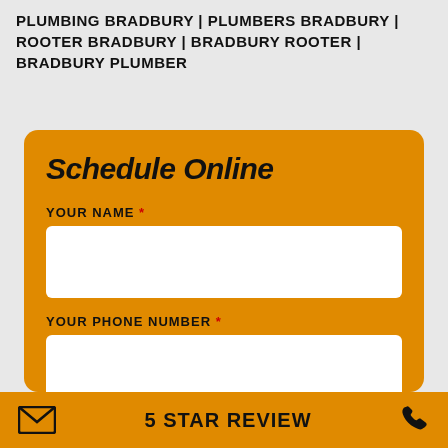PLUMBING BRADBURY | PLUMBERS BRADBURY | ROOTER BRADBURY | BRADBURY ROOTER | BRADBURY PLUMBER
Schedule Online
YOUR NAME *
YOUR PHONE NUMBER *
5 STAR REVIEW